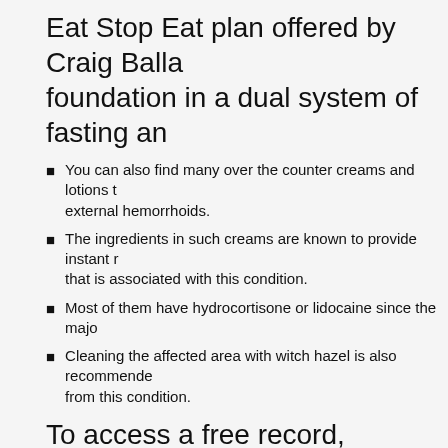Eat Stop Eat plan offered by Craig Ballantyne foundation in a dual system of fasting an
You can also find many over the counter creams and lotions to external hemorrhoids.
The ingredients in such creams are known to provide instant r that is associated with this condition.
Most of them have hydrocortisone or lidocaine since the majo
Cleaning the affected area with witch hazel is also recommenden from this condition.
To access a free record, remedies, cures and learn everything else you need to kn cure hemorrhoids once and for all please cure-hemorrhoids-fast.blogspot.com and rid-of-hemorrhoids-at-home.blogspot.cor